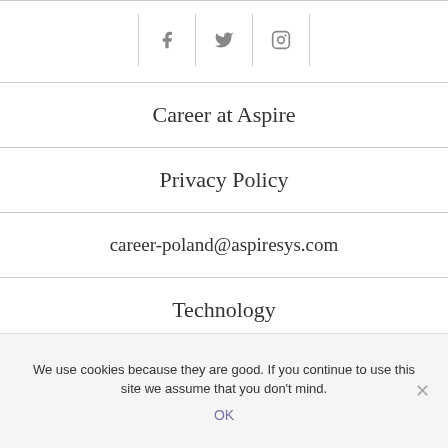[Figure (other): Social media icons row: Facebook, Twitter, Instagram, separated by vertical lines]
Career at Aspire
Privacy Policy
career-poland@aspiresys.com
Technology
We use cookies because they are good. If you continue to use this site we assume that you don't mind.
OK